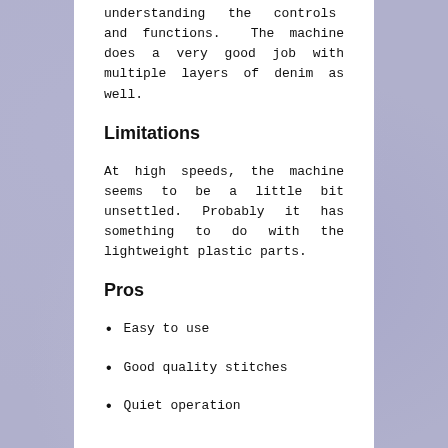understanding the controls and functions. The machine does a very good job with multiple layers of denim as well.
Limitations
At high speeds, the machine seems to be a little bit unsettled. Probably it has something to do with the lightweight plastic parts.
Pros
Easy to use
Good quality stitches
Quiet operation